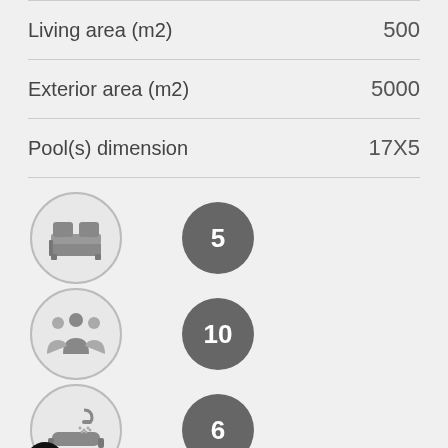| Property | Value |
| --- | --- |
| Living area (m2) | 500 |
| Exterior area (m2) | 5000 |
| Pool(s) dimension | 17X5 |
[Figure (infographic): Bed icon in circle outline with number 5 in dark filled circle — 5 bedrooms]
[Figure (infographic): People/group icon in circle outline with number 10 in dark filled circle — 10 guests]
[Figure (infographic): Shower/bath icon in circle outline with number 6 in dark filled circle — 6 bathrooms, with black checkmark circle overlay at bottom left]